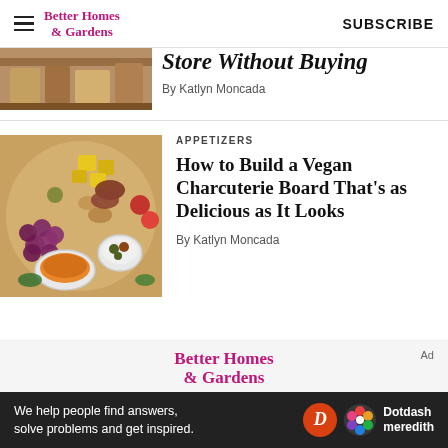Better Homes & Gardens — SUBSCRIBE
[Figure (photo): Partial image of a shelf or store display, cut off at top]
Store Without Buying
By Katlyn Moncada
APPETIZERS
How to Build a Vegan Charcuterie Board That's as Delicious as It Looks
By Katlyn Moncada
[Figure (photo): Overhead shot of a vegan charcuterie board with grapes, olives, hummus dip, cubed yellow cheese, nuts, and various plant-based items]
[Figure (logo): Better Homes & Gardens logo in pink serif font]
We help people find answers, solve problems and get inspired.
[Figure (logo): Dotdash Meredith logo with orange D circle icon and colorful flower icon]